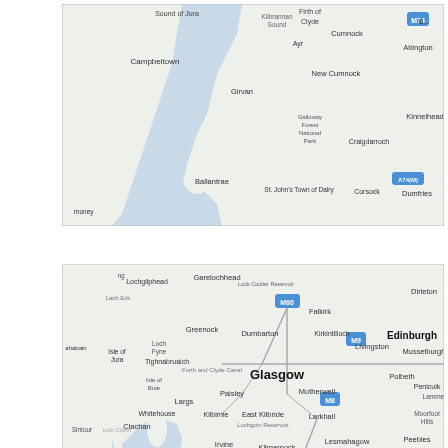[Figure (map): Map of southwest Scotland showing Ayrshire coast, Firth of Clyde, Galloway Forest National Park, and surrounding regions including Campbeltown, Girvan, Ballantrae, Ayr, Cumnock, New Cumnock, Kinnelhead, Dumfries. Road M74 and A74(M) visible.]
[Figure (map): Zoomed-out map of Scotland showing Glasgow, Edinburgh, Falkirk, Livingston, Motherwell, Paisley, Kilmarnock, and surrounding areas. Mauchline is marked with a red dot and bold label. Roads M80, M9, M8, M74, A74(M) visible. Firth of Clyde, Southern Uplands labeled.]